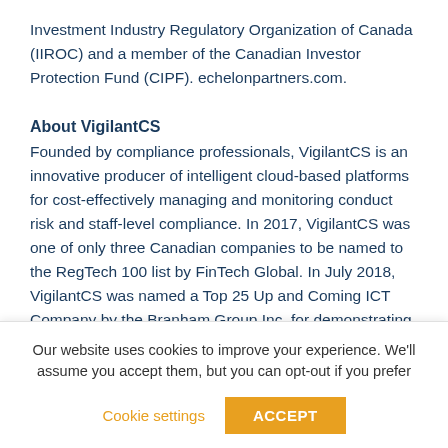Investment Industry Regulatory Organization of Canada (IIROC) and a member of the Canadian Investor Protection Fund (CIPF). echelonpartners.com.
About VigilantCS
Founded by compliance professionals, VigilantCS is an innovative producer of intelligent cloud-based platforms for cost-effectively managing and monitoring conduct risk and staff-level compliance. In 2017, VigilantCS was one of only three Canadian companies to be named to the RegTech 100 list by FinTech Global. In July 2018, VigilantCS was named a Top 25 Up and Coming ICT Company by the Branham Group Inc. for demonstrating innovation and promise. In October 2019 VigilantCS was
Our website uses cookies to improve your experience. We'll assume you accept them, but you can opt-out if you prefer